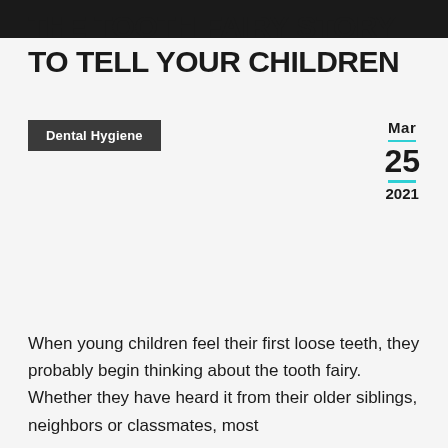THE TOOTH FAIRY STORY TO TELL YOUR CHILDREN
Dental Hygiene
Mar
25
2021
When young children feel their first loose teeth, they probably begin thinking about the tooth fairy.  Whether they have heard it from their older siblings, neighbors or classmates, most